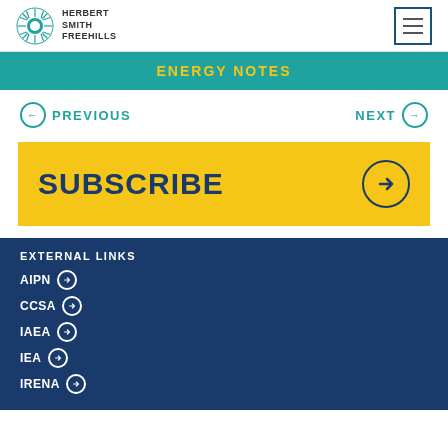Herbert Smith Freehills
ENERGY NOTES
PREVIOUS
NEXT
SUBSCRIBE
EXTERNAL LINKS
AIPN
CCSA
IAEA
IEA
IRENA